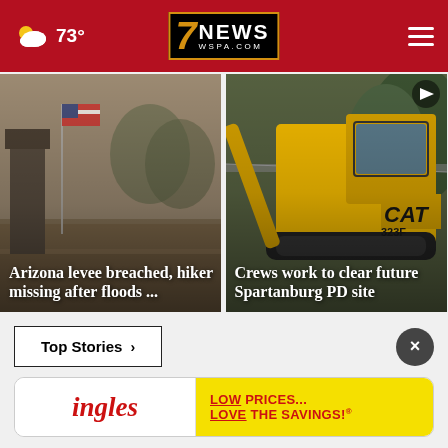7NEWS WSPA.COM — 73°
[Figure (photo): Flooded area with American flag and buildings in foggy/rainy conditions — Arizona levee breach scene]
Arizona levee breached, hiker missing after floods ...
[Figure (photo): CAT 323F excavator/construction equipment working to clear a site behind chain-link fence — Spartanburg PD future site]
Crews work to clear future Spartanburg PD site
Top Stories ›
[Figure (other): Ingles advertisement banner: LOW PRICES... LOVE THE SAVINGS!]